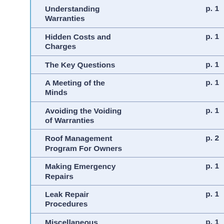| Topic | Page |
| --- | --- |
| Understanding Warranties | p. 1 |
| Hidden Costs and Charges | p. 1 |
| The Key Questions | p. 1 |
| A Meeting of the Minds | p. 1 |
| Avoiding the Voiding of Warranties | p. 1 |
| Roof Management Program For Owners | p. 2 |
| Making Emergency Repairs | p. 1 |
| Leak Repair Procedures | p. 1 |
| Miscellaneous | p. 1 |